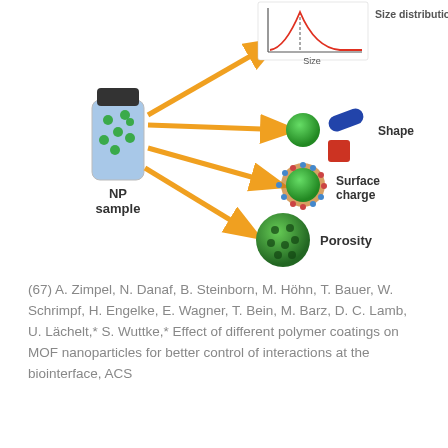[Figure (infographic): Diagram showing a nanoparticle (NP) sample vial with green dots, with orange arrows pointing to four properties: Size distribution (line chart showing size vs count), Shape (green sphere, blue rod, red cube), Surface charge (green sphere with surrounding charged dots), and Porosity (green porous sphere).]
(67) A. Zimpel, N. Danaf, B. Steinborn, M. Höhn, T. Bauer, W. Schrimpf, H. Engelke, E. Wagner, T. Bein, M. Barz, D. C. Lamb, U. Lächelt,* S. Wuttke,* Effect of different polymer coatings on MOF nanoparticles for better control of interactions at the biointerface, ACS